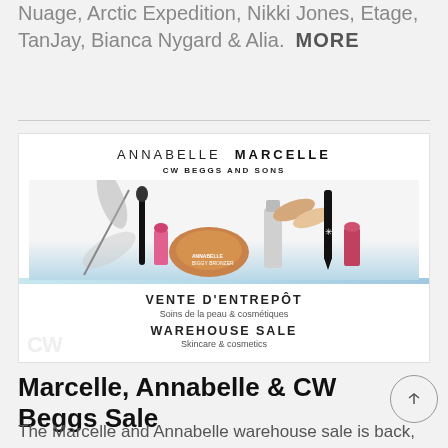Nuage, Arctic Expedition, Nikki Jones, Etage, TanJay, Bianca Nygard & Alia. MORE
[Figure (photo): Advertisement image for Annabelle, Marcelle, and CW Beggs and Sons cosmetics warehouse sale. Shows various makeup products including mascara, lipstick, bronzer compact, foundation, and eyeliner. Text reads: VENTE D'ENTREPÔT Soins de la peau & cosmétiques / WAREHOUSE SALE Skincare & cosmetics]
Marcelle, Annabelle & CW Beggs Sale
The Marcelle and Annabelle warehouse sale is back, Nov. 3 to